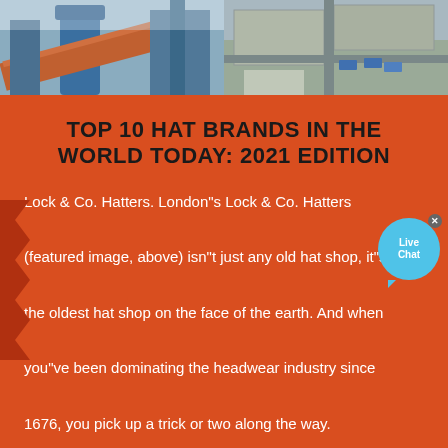[Figure (photo): Industrial facility photos at top — left shows large blue industrial pipe/tower, right shows aerial view of industrial site]
TOP 10 HAT BRANDS IN THE WORLD TODAY: 2021 EDITION
Lock & Co. Hatters. London"s Lock & Co. Hatters (featured image, above) isn"t just any old hat shop, it"s the oldest hat shop on the face of the earth. And when you"ve been dominating the headwear industry since 1676, you pick up a trick or two along the way.
[Figure (photo): Industrial mining/construction site photos at bottom — left shows quarry with machinery, right shows industrial building structure with conveyor]
[Figure (photo): Bottom strip — left shows construction equipment, right shows an orange machine diagram with Chinese text labels]